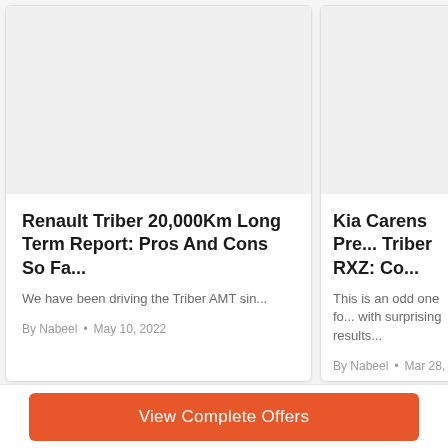[Figure (photo): Placeholder image area for Renault Triber article thumbnail (light gray background)]
Renault Triber 20,000Km Long Term Report: Pros And Cons So Fa...
We have been driving the Triber AMT sin...
By Nabeel • May 10, 2022
[Figure (photo): Placeholder image area for Kia Carens / Triber RXZ article thumbnail (light gray background, partially visible)]
Kia Carens Pre... Triber RXZ: Co...
This is an odd one fo... with surprising results...
By Nabeel • Mar 28,
View Complete Offers